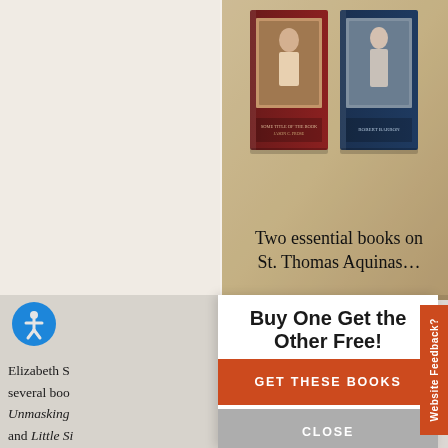[Figure (illustration): Advertisement banner showing two books about St. Thomas Aquinas on a parchment-colored background, with text 'Two essential books on St. Thomas Aquinas...']
Two essential books on St. Thomas Aquinas...
[Figure (screenshot): Accessibility icon - blue circle with white person/wheelchair symbol]
Elizabeth S several boo Unmasking and Little Si Fire Editor- the English the Catholi "The Ancho
Buy One Get the Other Free!
GET THESE BOOKS
CLOSE
Website Feedback?